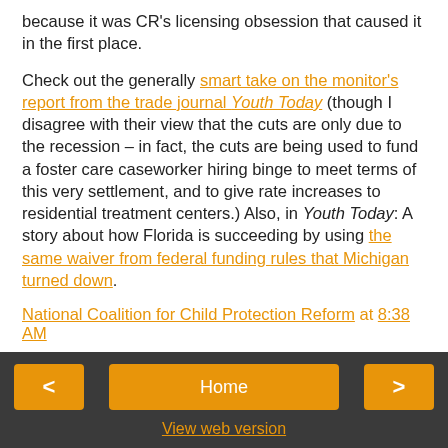because it was CR's licensing obsession that caused it in the first place.
Check out the generally smart take on the monitor's report from the trade journal Youth Today (though I disagree with their view that the cuts are only due to the recession – in fact, the cuts are being used to fund a foster care caseworker hiring binge to meet terms of this very settlement, and to give rate increases to residential treatment centers.) Also, in Youth Today: A story about how Florida is succeeding by using the same waiver from federal funding rules that Michigan turned down.
National Coalition for Child Protection Reform at 8:38 AM
Share
< Home > View web version